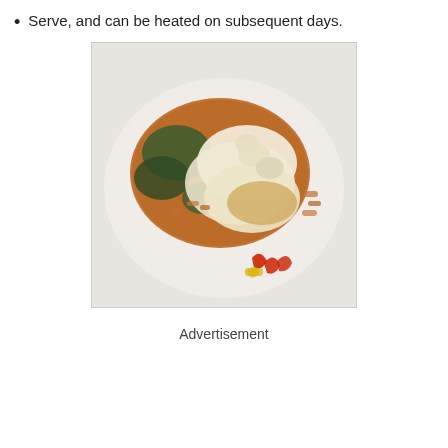Serve, and can be heated on subsequent days.
[Figure (photo): A serving of baked pasta casserole with melted cheese and spinach on a white plate, with some red and yellow pepper pieces on the side.]
Advertisement